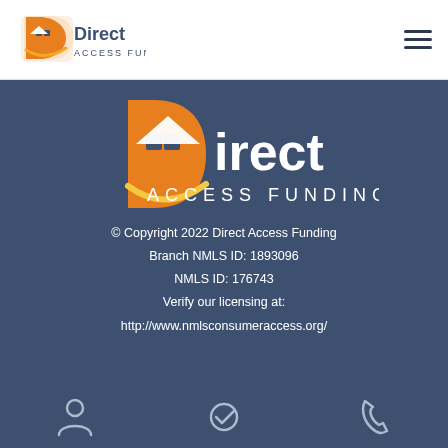[Figure (logo): Direct Access Funding logo in top navigation bar — orange house/D icon with dark blue text 'Direct ACCESS FUNDING']
[Figure (logo): Large Direct Access Funding logo centered on dark blue background — orange house/D icon with white text 'Direct ACCESS FUNDING']
© Copyright 2022 Direct Access Funding
Branch NMLS ID: 1893096
NMLS ID: 176743
Verify our licensing at:
http://www.nmlsconsumeraccess.org/
[Figure (illustration): Bottom navigation icons: person/account icon, checkmark circle icon, phone icon]